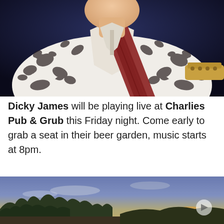[Figure (photo): A musician wearing a white ornate patterned shirt with black floral/scroll designs, with a dark red/brown guitar strap crossing his chest and a guitar visible at lower right, against a dark blue background.]
Dicky James will be playing live at Charlies Pub & Grub this Friday night. Come early to grab a seat in their beer garden, music starts at 8pm.
[Figure (photo): An outdoor evening scene showing silhouetted trees against a twilight sky with a setting sun visible on the horizon, likely the beer garden at Charlies Pub & Grub.]